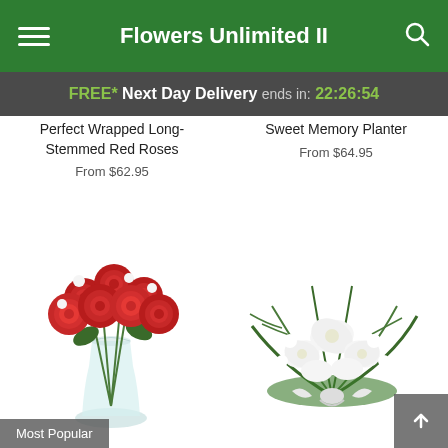Flowers Unlimited II
FREE* Next Day Delivery ends in: 22:26:54
Perfect Wrapped Long-Stemmed Red Roses
From $62.95
Sweet Memory Planter
From $64.95
[Figure (photo): Bouquet of red roses in a clear glass vase with white accent flowers and green leaves]
Most Popular
[Figure (photo): White floral arrangement with lilies, greenery and a white bow, funeral/sympathy style]